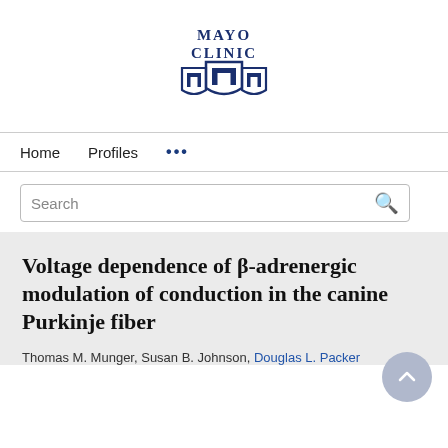[Figure (logo): Mayo Clinic logo with shield emblem in dark blue, text 'MAYO CLINIC' above the shield icon]
Home   Profiles   ...
Search
Voltage dependence of β-adrenergic modulation of conduction in the canine Purkinje fiber
Thomas M. Munger, Susan B. Johnson, Douglas L. Packer